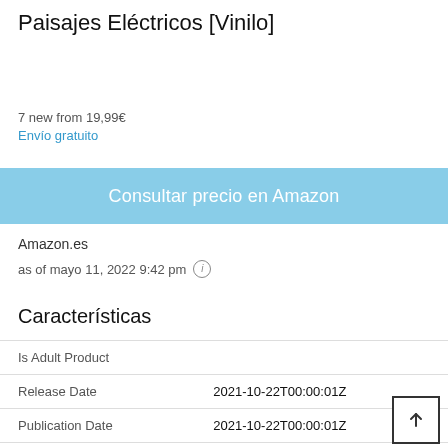Paisajes Eléctricos [Vinilo]
7 new from 19,99€
Envío gratuito
Consultar precio en Amazon
Amazon.es
as of mayo 11, 2022 9:42 pm (i)
Características
|  |  |
| --- | --- |
| Is Adult Product |  |
| Release Date | 2021-10-22T00:00:01Z |
| Publication Date | 2021-10-22T00:00:01Z |